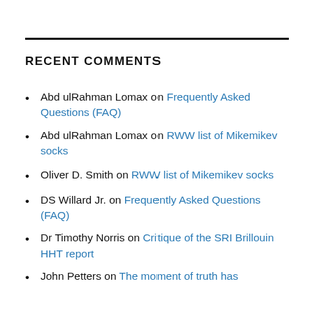RECENT COMMENTS
Abd ulRahman Lomax on Frequently Asked Questions (FAQ)
Abd ulRahman Lomax on RWW list of Mikemikev socks
Oliver D. Smith on RWW list of Mikemikev socks
DS Willard Jr. on Frequently Asked Questions (FAQ)
Dr Timothy Norris on Critique of the SRI Brillouin HHT report
John Petters on The moment of truth has